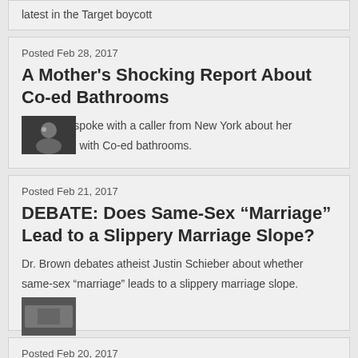latest in the Target boycott
Posted Feb 28, 2017
A Mother's Shocking Report About Co-ed Bathrooms
[Figure (photo): Small thumbnail image of person]
Dr. Brown spoke with a caller from New York about her experience with Co-ed bathrooms.
Posted Feb 21, 2017
DEBATE: Does Same-Sex “Marriage” Lead to a Slippery Marriage Slope?
[Figure (photo): Small thumbnail image]
Dr. Brown debates atheist Justin Schieber about whether same-sex “marriage” leads to a slippery marriage slope.
Posted Feb 20, 2017